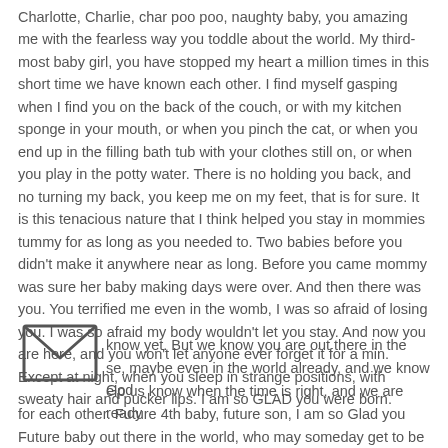Charlotte, Charlie, char poo poo, naughty baby, you amazing me with the fearless way you toddle about the world. My third-most baby girl, you have stopped my heart a million times in this short time we have known each other. I find myself gasping when I find you on the back of the couch, or with my kitchen sponge in your mouth, or when you pinch the cat, or when you end up in the filling bath tub with your clothes still on, or when you play in the potty water. There is no holding you back, and no turning my back, you keep me on my feet, that is for sure. It is this tenacious nature that I think helped you stay in mommies tummy for as long as you needed to. Two babies before you didn't make it anywhere near as long. Before you came mommy was sure her baby making days were over. And then there was you. You terrified me even in the womb, I was so afraid of losing you. I was so afraid my body wouldn't let you stay. And now you are here, and you won't let anyone ever forget it for a min. Except at night, when you sleep in strange positions, with sweaty hair and pucker lips. I am so GLAD you were born.
Future baby out there in the world, who may someday get to be part of our family. We think about you almost every day. You sisters ask "when will we adopt a brother?!" And we know yet. But we know you are out there in the se, maybe even in the world already, and we know God elp us know when the time is right, and we are ready for each other. Future 4th baby, future son, I am so Glad you
[Figure (illustration): Envelope icon (mail symbol) with a V-shaped flap outline, drawn in dark gray on white background.]